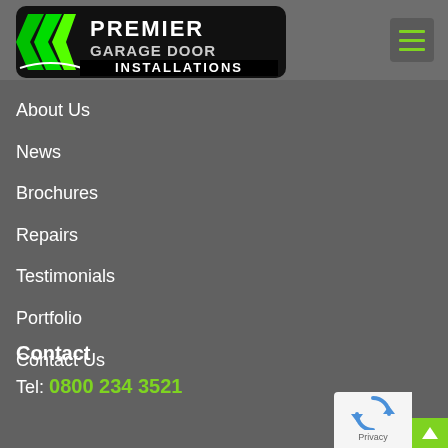[Figure (logo): Premier Garage Door Installations logo — black rounded rectangle with green stripe chevrons on the left and white/chrome text reading PREMIER GARAGE DOOR INSTALLATIONS]
[Figure (other): Hamburger menu icon — three green horizontal lines on a dark grey square button]
About Us
News
Brochures
Repairs
Testimonials
Portfolio
Contact Us
Contact
Tel: 0800 234 3521
[Figure (other): reCAPTCHA badge with Google logo and Privacy label, plus a green scroll-to-top arrow button]